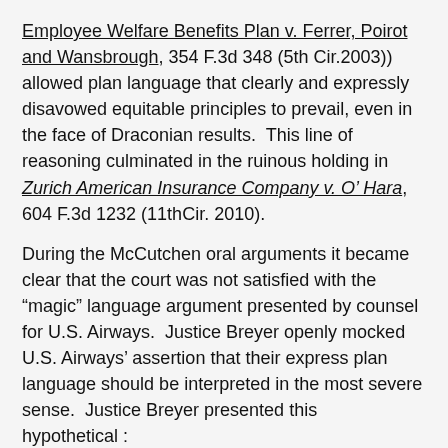Employee Welfare Benefits Plan v. Ferrer, Poirot and Wansbrough, 354 F.3d 348 (5th Cir.2003)) allowed plan language that clearly and expressly disavowed equitable principles to prevail, even in the face of Draconian results.  This line of reasoning culminated in the ruinous holding in Zurich American Insurance Company v. O' Hara, 604 F.3d 1232 (11thCir. 2010).
During the McCutchen oral arguments it became clear that the court was not satisfied with the “magic” language argument presented by counsel for U.S. Airways.  Justice Breyer openly mocked U.S. Airways’ assertion that their express plan language should be interpreted in the most severe sense.  Justice Breyer presented this hypothetical :
JUSTICE BREYER: So if I were — if I were Joe Smith, and a plan — the plan pays me 100 — I have medical expenses of $100,000. And, actually, the -the — there was a driver who caused this problem. And later I